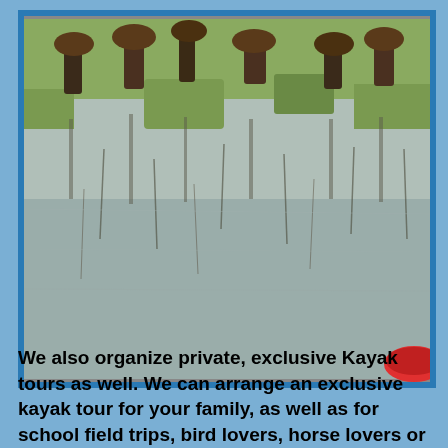[Figure (photo): Outdoor nature photo showing a reflective body of water with reeds and vegetation, horses or large animals visible in the background near grassy banks, and a partial view of a red kayak in the bottom right corner.]
We also organize private, exclusive Kayak tours as well. We can arrange an exclusive kayak tour for your family, as well as for school field trips, bird lovers, horse lovers or a group of friends. We do s